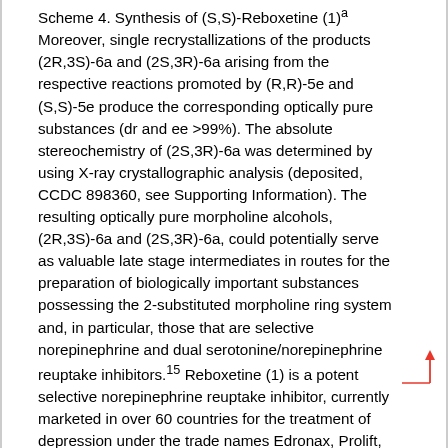Scheme 4. Synthesis of (S,S)-Reboxetine (1)a Moreover, single recrystallizations of the products (2R,3S)-6a and (2S,3R)-6a arising from the respective reactions promoted by (R,R)-5e and (S,S)-5e produce the corresponding optically pure substances (dr and ee >99%). The absolute stereochemistry of (2S,3R)-6a was determined by using X-ray crystallographic analysis (deposited, CCDC 898360, see Supporting Information). The resulting optically pure morpholine alcohols, (2R,3S)-6a and (2S,3R)-6a, could potentially serve as valuable late stage intermediates in routes for the preparation of biologically important substances possessing the 2-substituted morpholine ring system and, in particular, those that are selective norepinephrine and dual serotonine/norepinephrine reuptake inhibitors.15 Reboxetine (1) is a potent selective norepinephrine reuptake inhibitor, currently marketed in over 60 countries for the treatment of depression under the trade names Edronax, Prolift, Vestra, Norebox, and Integrex.16 While reboxetine is commercially sold as a racemic mixture of (2S,3S)- and (2R,3R)-enantiomers, recent studies have shown that the (2S,3S)-isomer, named as (S,S)-reboxetine, is significantly more active and selective for the norepinephrine transporter (NET) than is